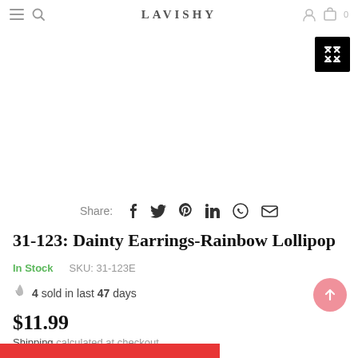LAVISHY
[Figure (other): Product image area with expand/fullscreen button in top right corner (black button with white expand arrows icon)]
Share: f  Twitter  Pinterest  in  WhatsApp  Email
31-123: Dainty Earrings-Rainbow Lollipop
In Stock    SKU: 31-123E
4 sold in last 47 days
$11.99
Shipping calculated at checkout.